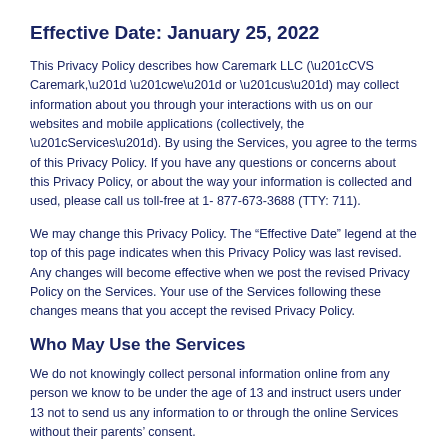Effective Date: January 25, 2022
This Privacy Policy describes how Caremark LLC (“CVS Caremark,” “we” or “us”) may collect information about you through your interactions with us on our websites and mobile applications (collectively, the “Services”). By using the Services, you agree to the terms of this Privacy Policy. If you have any questions or concerns about this Privacy Policy, or about the way your information is collected and used, please call us toll-free at 1-877-673-3688 (TTY: 711).
We may change this Privacy Policy. The “Effective Date” legend at the top of this page indicates when this Privacy Policy was last revised. Any changes will become effective when we post the revised Privacy Policy on the Services. Your use of the Services following these changes means that you accept the revised Privacy Policy.
Who May Use the Services
We do not knowingly collect personal information online from any person we know to be under the age of 13 and instruct users under 13 not to send us any information to or through the online Services without their parents’ consent.